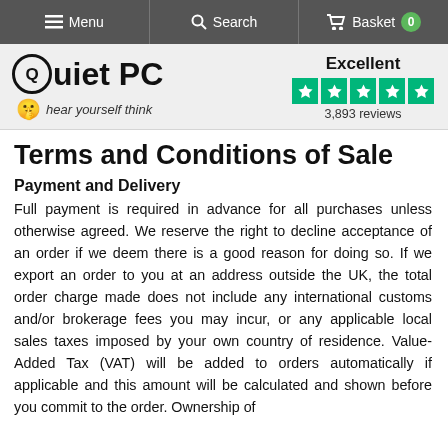Menu | Search | Basket 0
[Figure (logo): Quiet PC logo with tagline 'hear yourself think' and Trustpilot rating showing Excellent 3,893 reviews with 5 green stars]
Terms and Conditions of Sale
Payment and Delivery
Full payment is required in advance for all purchases unless otherwise agreed. We reserve the right to decline acceptance of an order if we deem there is a good reason for doing so. If we export an order to you at an address outside the UK, the total order charge made does not include any international customs and/or brokerage fees you may incur, or any applicable local sales taxes imposed by your own country of residence. Value-Added Tax (VAT) will be added to orders automatically if applicable and this amount will be calculated and shown before you commit to the order. Ownership of